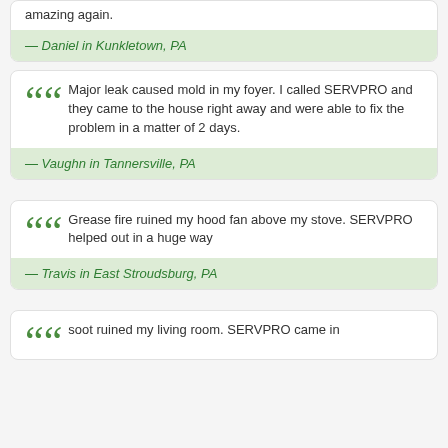amazing again.
— Daniel in Kunkletown, PA
Major leak caused mold in my foyer. I called SERVPRO and they came to the house right away and were able to fix the problem in a matter of 2 days.
— Vaughn in Tannersville, PA
Grease fire ruined my hood fan above my stove. SERVPRO helped out in a huge way
— Travis in East Stroudsburg, PA
soot ruined my living room. SERVPRO came in